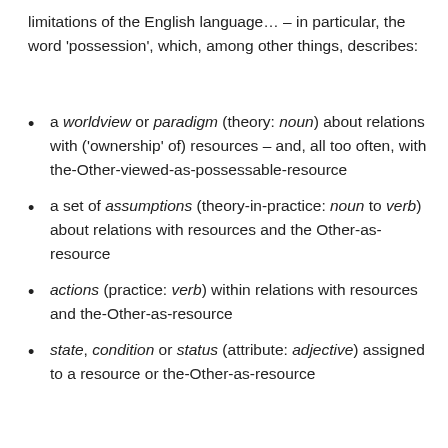limitations of the English language… – in particular, the word 'possession', which, among other things, describes:
a worldview or paradigm (theory: noun) about relations with ('ownership' of) resources – and, all too often, with the-Other-viewed-as-possessable-resource
a set of assumptions (theory-in-practice: noun to verb) about relations with resources and the Other-as-resource
actions (practice: verb) within relations with resources and the-Other-as-resource
state, condition or status (attribute: adjective) assigned to a resource or the-Other-as-resource